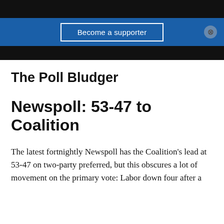Become a supporter
The Poll Bludger
Newspoll: 53-47 to Coalition
The latest fortnightly Newspoll has the Coalition's lead at 53-47 on two-party preferred, but this obscures a lot of movement on the primary vote: Labor down four after a